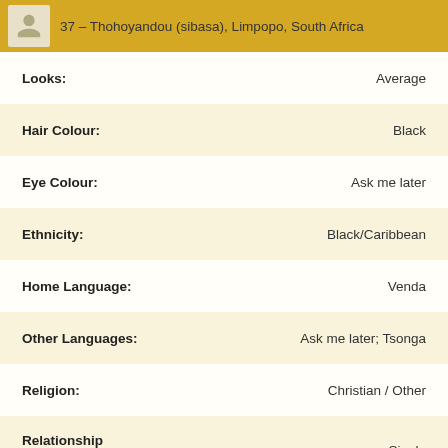37 – Thohoyandou (sibasa), Limpopo, South Africa
| Field | Value |
| --- | --- |
| Looks: | Average |
| Hair Colour: | Black |
| Eye Colour: | Ask me later |
| Ethnicity: | Black/Caribbean |
| Home Language: | Venda |
| Other Languages: | Ask me later; Tsonga |
| Religion: | Christian / Other |
| Relationship Status: | Single |